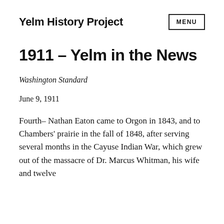Yelm History Project
1911 – Yelm in the News
Washington Standard
June 9, 1911
Fourth– Nathan Eaton came to Orgon in 1843, and to Chambers' prairie in the fall of 1848, after serving several months in the Cayuse Indian War, which grew out of the massacre of Dr. Marcus Whitman, his wife and twelve